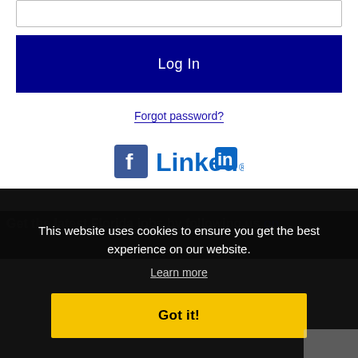[input field]
Log In
Forgot password?
[Figure (logo): Facebook and LinkedIn social media login icons side by side]
Get the latest Florida jobs by following us on
This website uses cookies to ensure you get the best experience on our website.
Learn more
Got it!